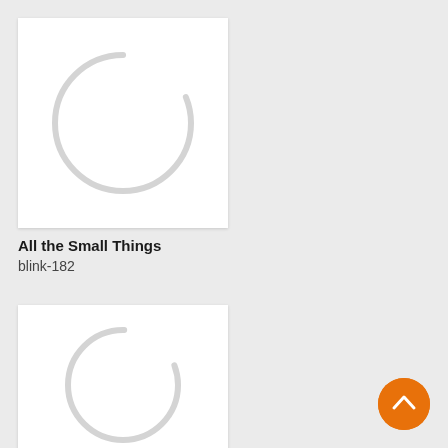[Figure (illustration): Album art placeholder card showing a light gray circle spinner/loader on white background]
All the Small Things
blink-182
[Figure (illustration): Second album art placeholder card showing a light gray circle spinner/loader on white background]
[Figure (illustration): Orange circular FAB button with upward chevron arrow]